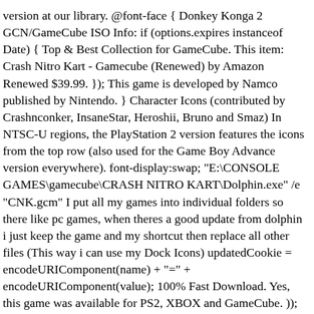version at our library. @font-face { Donkey Konga 2 GCN/GameCube ISO Info: if (options.expires instanceof Date) { Top & Best Collection for GameCube. This item: Crash Nitro Kart - Gamecube (Renewed) by Amazon Renewed $39.99. }); This game is developed by Namco published by Nintendo. } Character Icons (contributed by Crashnconker, InsaneStar, Heroshii, Bruno and Smaz) In NTSC-U regions, the PlayStation 2 version features the icons from the top row (also used for the Game Boy Advance version everywhere). font-display:swap; "E:\CONSOLE GAMES\gamecube\CRASH NITRO KART\Dolphin.exe" /e "CNK.gcm" I put all my games into individual folders so there like pc games, when theres a good update from dolphin i just keep the game and my shortcut then replace all other files (This way i can use my Dock Icons) updatedCookie = encodeURIComponent(name) + "=" + encodeURIComponent(value); 100% Fast Download. Yes, this game was available for PS2, XBOX and GameCube. )); N. Gin. }) (window,document,'script','dataLayer','GTM-WKDKBGW'); 'path': '/' Gamecube Memory Card, VOYEE 512M Memory Card for Nintendo Gamecube & Wii Console - Blue $13.99. You can Download Crash